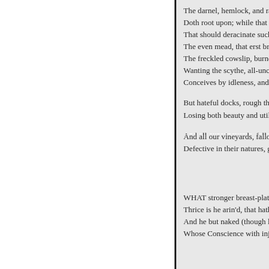The darnel, hemlock, and ra
Doth root upon; while that t
That should deracinate such
The even mead, that erst br
The freckled cowslip, burne
Wanting the scythe, all-unc
Conceives by idleness, and

But hateful docks, rough thi
Losing both beauty and util

And all our vineyards, fallo
Defective in their natures, g




WHAT stronger breast-plat
Thrice is he arin'd, that hath
And he but naked (though l
Whose Conscience with inj